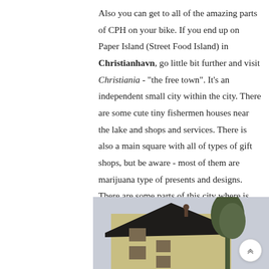Also you can get to all of the amazing parts of CPH on your bike. If you end up on Paper Island (Street Food Island) in Christianhavn, go little bit further and visit Christiania - "the free town". It's an independent small city within the city. There are some cute tiny fishermen houses near the lake and shops and services. There is also a main square with all of types of gift shops, but be aware - most of them are marijuana type of presents and designs. There are some parts of this city where is strictly forbidden to shoot with your camera or phone. There are kiosks with masked salesmen, selling weed and hashish.
[Figure (photo): A yellowish building with dark roof, windows visible, trees in the background, taken in Christiania, Copenhagen.]